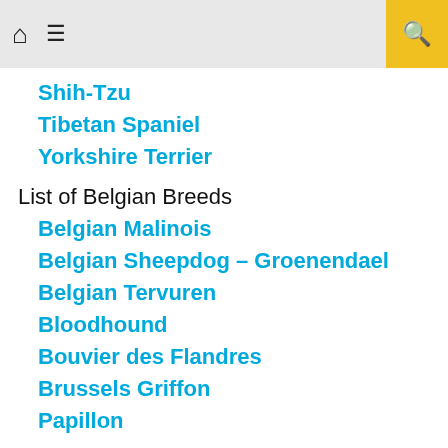Home | Menu | Search
Shih-Tzu
Tibetan Spaniel
Yorkshire Terrier
List of Belgian Breeds
Belgian Malinois
Belgian Sheepdog – Groenendael
Belgian Tervuren
Bloodhound
Bouvier des Flandres
Brussels Griffon
Papillon
Facebook Comments Box
0 Comments   Sort by New